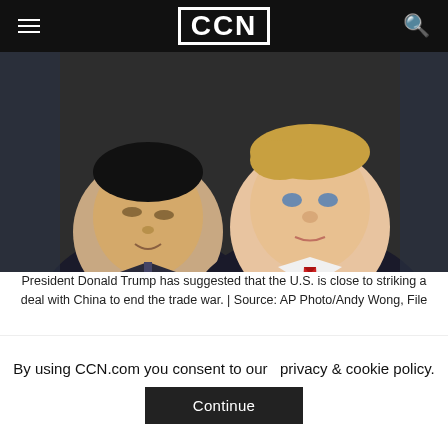CCN
[Figure (photo): Two men in dark suits facing each other closely in conversation — one Asian man on the left and one Western man on the right wearing a red tie.]
President Donald Trump has suggested that the U.S. is close to striking a deal with China to end the trade war. | Source: AP Photo/Andy Wong, File
The Federal Reserve's announcements
Wednesday were the most conspicuous driving
By using CCN.com you consent to our  privacy & cookie policy.